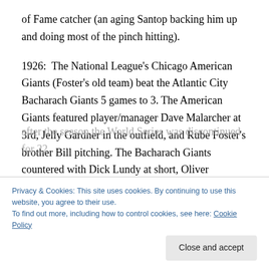of Fame catcher (an aging Santop backing him up and doing most of the pinch hitting).
1926: The National League's Chicago American Giants (Foster's old team) beat the Atlantic City Bacharach Giants 5 games to 3. The American Giants featured player/manager Dave Malarcher at 3rd, Jelly Gardner in the outfield, and Rube Foster's brother Bill pitching. The Bacharach Giants countered with Dick Lundy at short, Oliver Marcelle at 3rd, and pitchers Luther Ferrell and Claude Grier, both of which tossed no hitters in a losing
Privacy & Cookies: This site uses cookies. By continuing to use this website, you agree to their use.
To find out more, including how to control cookies, see here: Cookie Policy
after the season the World Series was discontinued for 22